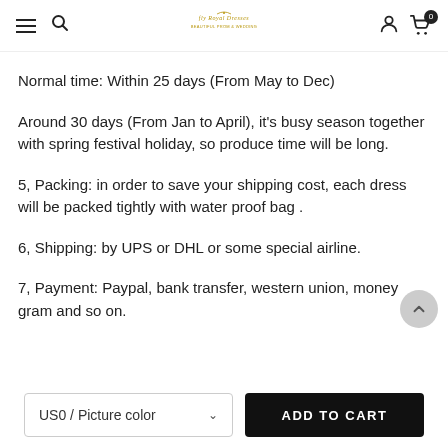Navigation header with hamburger menu, search icon, logo, user icon, cart icon with badge 0
Normal time: Within 25 days (From May to Dec)
Around 30 days (From Jan to April), it's busy season together with spring festival holiday, so produce time will be long.
5, Packing: in order to save your shipping cost, each dress will be packed tightly with water proof bag .
6, Shipping: by UPS or DHL or some special airline.
7, Payment: Paypal, bank transfer, western union, money gram and so on.